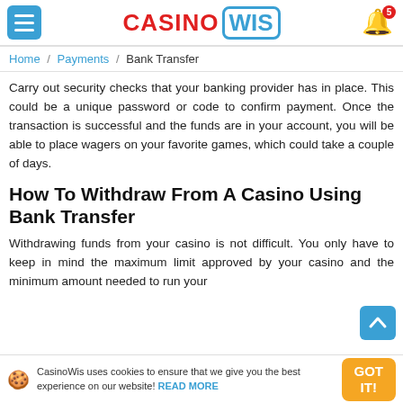CasinoWis
Home / Payments / Bank Transfer
Carry out security checks that your banking provider has in place. This could be a unique password or code to confirm payment. Once the transaction is successful and the funds are in your account, you will be able to place wagers on your favorite games, which could take a couple of days.
How To Withdraw From A Casino Using Bank Transfer
Withdrawing funds from your casino is not difficult. You only have to keep in mind the maximum limit approved by your casino and the minimum amount needed to run your
CasinoWis uses cookies to ensure that we give you the best experience on our website! READ MORE